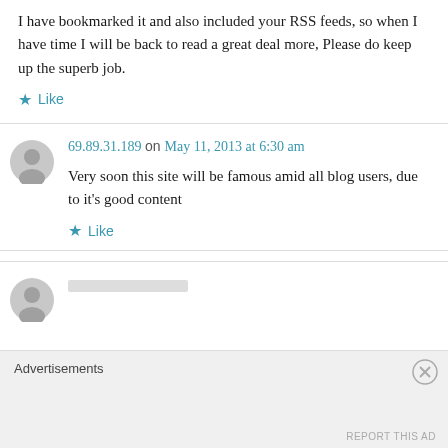I have bookmarked it and also included your RSS feeds, so when I have time I will be back to read a great deal more, Please do keep up the superb job.
Like
69.89.31.189 on May 11, 2013 at 6:30 am
Very soon this site will be famous amid all blog users, due to it's good content
Like
Advertisements